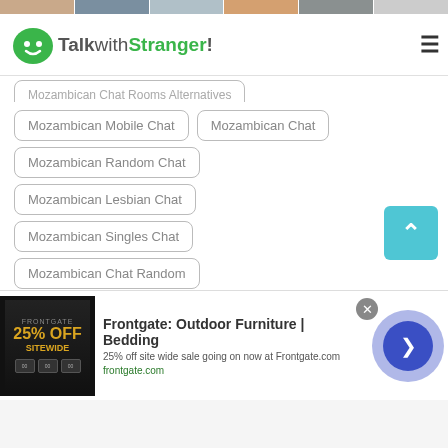[Figure (screenshot): Top image strip showing profile photo thumbnails]
TalkwithStranger!
Mozambican Chat Rooms Alternatives (partially visible)
Mozambican Mobile Chat
Mozambican Chat
Mozambican Random Chat
Mozambican Lesbian Chat
Mozambican Singles Chat
Mozambican Chat Random
Mozambican Chit Chat with Strangers
Mozambican Chat With Girls
Mozambican Chat With G... (partially visible)
[Figure (screenshot): Advertisement banner: Frontgate Outdoor Furniture and Bedding, 25% off site wide sale going on now at Frontgate.com]